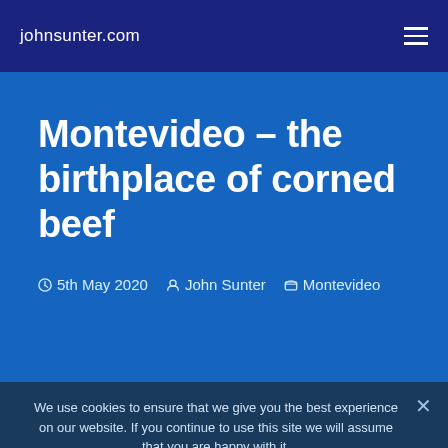johnsunter.com
Montevideo – the birthplace of corned beef
5th May 2020  John Sunter  Montevideo
We use cookies to ensure that we give you the best experience on our website. If you continue to use this site we will assume that you are happy with it.